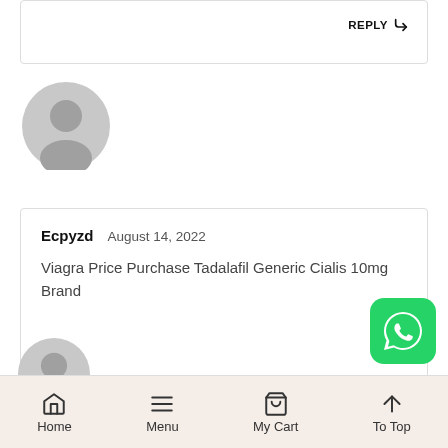[Figure (other): Partial comment card at top with REPLY button]
[Figure (other): Gray default user avatar circle for first commenter]
Ecpyzd  August 14, 2022
Viagra Price Purchase Tadalafil Generic Cialis 10mg Brand
REPLY
[Figure (other): Partial gray default user avatar circle at bottom]
[Figure (other): WhatsApp green round icon button]
Home  Menu  My Cart  To Top